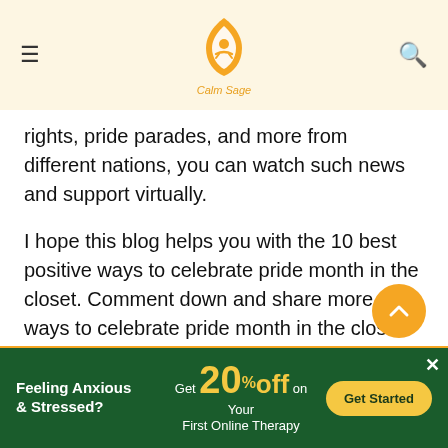Calm Sage
rights, pride parades, and more from different nations, you can watch such news and support virtually.
I hope this blog helps you with the 10 best positive ways to celebrate pride month in the closet. Comment down and share more ways to celebrate pride month in the closet. For more such content, connect with us on all social media platforms.
Thanks for reading!
Feeling Anxious & Stressed? Get 20% Off on Your First Online Therapy — Get Started